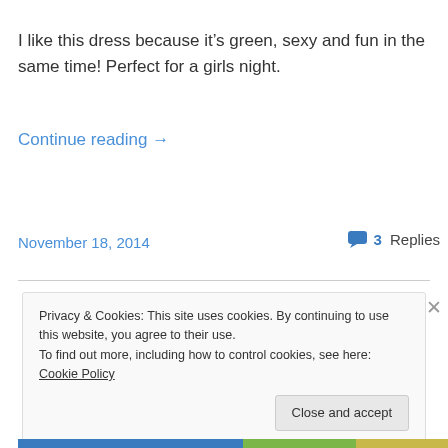I like this dress because it’s green, sexy and fun in the same time! Perfect for a girls night.
Continue reading →
November 18, 2014
3 Replies
Privacy & Cookies: This site uses cookies. By continuing to use this website, you agree to their use.
To find out more, including how to control cookies, see here: Cookie Policy
Close and accept